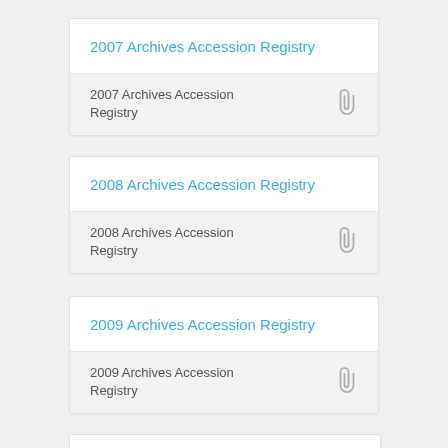2007 Archives Accession Registry
2007 Archives Accession Registry
2008 Archives Accession Registry
2008 Archives Accession Registry
2009 Archives Accession Registry
2009 Archives Accession Registry